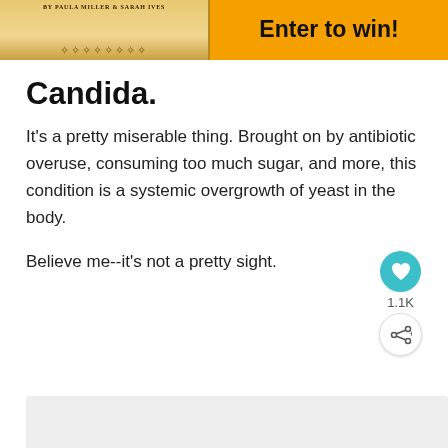[Figure (illustration): Banner with book cover on the left (BY PAULA MILLER & SARAH IVES, decorative border) and orange panel on the right with 'Enter to win!' text in bold black.]
Candida.
It's a pretty miserable thing. Brought on by antibiotic overuse, consuming too much sugar, and more, this condition is a systemic overgrowth of yeast in the body.
Believe me--it's not a pretty sight.